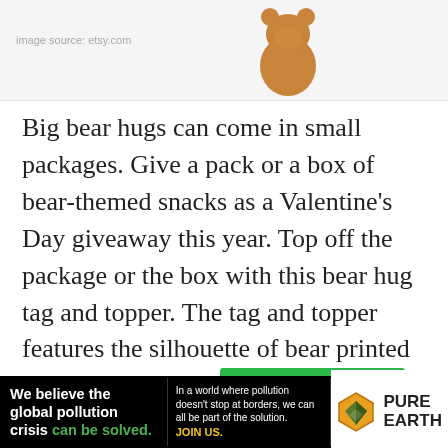[Figure (photo): Top portion of a product photo showing a bear-shaped snack cookie on a white/light grey background with faint watermark text]
Big bear hugs can come in small packages. Give a pack or a box of bear-themed snacks as a Valentine's Day giveaway this year. Top off the package or the box with this bear hug tag and topper. The tag and topper features the silhouette of bear printed against a white background. The phrase A Big Hug is printed around the bear in black ink.
[Figure (other): Green 'Buy on Etsy' button]
[Figure (other): Pure Earth advertisement banner: black background left section with bold white text 'We believe the global pollution crisis can be solved.' with 'can be solved.' in green. Middle section with white text 'In a world where pollution doesn't stop at borders, we can all be part of the solution.' and yellow 'JOIN US.' Right section white background with Pure Earth logo (diamond shape with arrow icon) and bold text 'PURE EARTH']